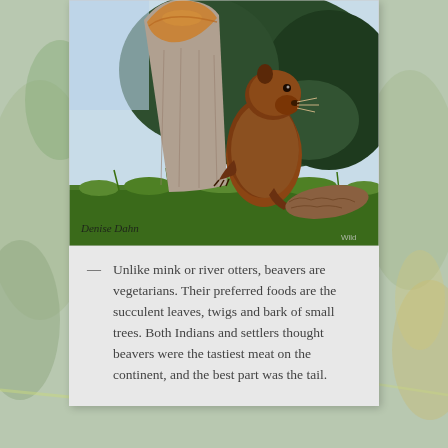[Figure (illustration): Illustration of a beaver standing upright next to a chewed tree stump in a grassy area with trees and sky in the background. The beaver has a flat scaly tail visible on the ground. Artist signature 'Denise Dahn' visible at bottom left, and 'Wild' watermark at bottom right.]
Unlike mink or river otters, beavers are vegetarians. Their preferred foods are the succulent leaves, twigs and bark of small trees. Both Indians and settlers thought beavers were the tastiest meat on the continent, and the best part was the tail.